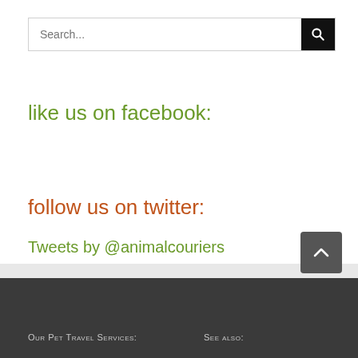[Figure (screenshot): Search bar with text input field showing placeholder 'Search...' and a black search button with magnifying glass icon]
like us on facebook:
follow us on twitter:
Tweets by @animalcouriers
OUR PET TRAVEL SERVICES:    SEE ALSO: